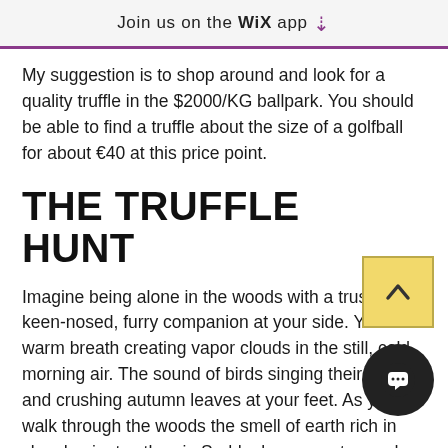Join us on the WiX app ↓
My suggestion is to shop around and look for a quality truffle in the $2000/KG ballpark. You should be able to find a truffle about the size of a golfball for about €40 at this price point.
THE TRUFFLE HUNT
Imagine being alone in the woods with a trusty, keen-nosed, furry companion at your side. Your warm breath creating vapor clouds in the still, cold morning air. The sound of birds singing their songs, and crushing autumn leaves at your feet. As you walk through the woods the smell of earth rich in clay dominates the air. Suddenly your wet-nosed companion's ears perk and he is off and running. He fervently paws at the earth, signaling to his master of the treasure he has found. His